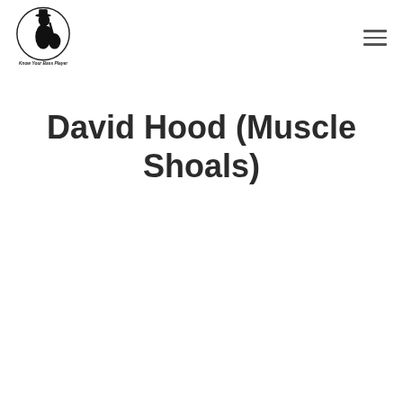Know Your Bass Player
David Hood (Muscle Shoals)